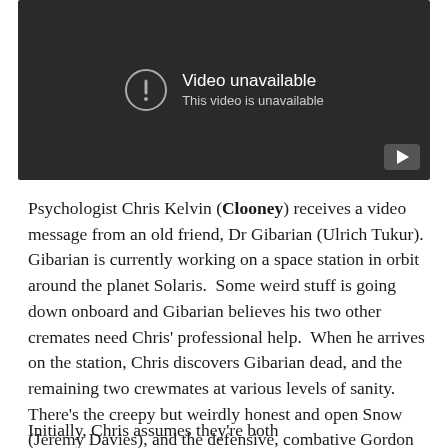[Figure (screenshot): Embedded video player showing a 'Video unavailable / This video is unavailable' error message on a dark background, with a YouTube play button icon in the bottom right corner.]
Psychologist Chris Kelvin (Clooney) receives a video message from an old friend, Dr Gibarian (Ulrich Tukur). Gibarian is currently working on a space station in orbit around the planet Solaris.  Some weird stuff is going down onboard and Gibarian believes his two other cremates need Chris' professional help.  When he arrives on the station, Chris discovers Gibarian dead, and the remaining two crewmates at various levels of sanity.  There's the creepy but weirdly honest and open Snow (Jeremy Davies), and the defensive, combative Gordon (Viola Davis).
Initially, Chris assumes they're both